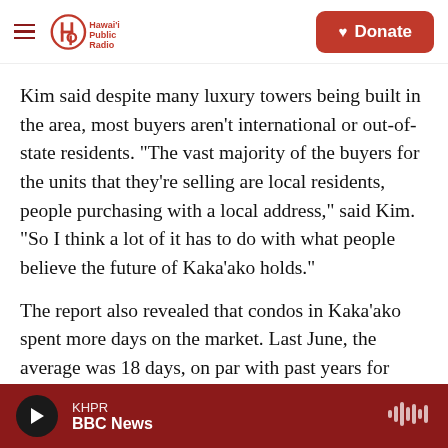Hawai'i Public Radio — hamburger menu, logo, Donate button
Kim said despite many luxury towers being built in the area, most buyers aren't international or out-of-state residents. “The vast majority of the buyers for the units that they’re selling are local residents, people purchasing with a local address,” said Kim. “So I think a lot of it has to do with what people believe the future of Kaka‘ako holds.”
The report also revealed that condos in Kaka‘ako spent more days on the market. Last June, the average was 18 days, on par with past years for Honolulu. This time, it was 56. But Kim said, with
KHPR — BBC News (audio player bar)